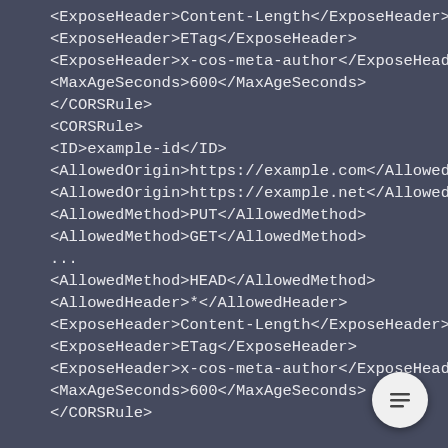<ExposeHeader>Content-Length</ExposeHeader>
<ExposeHeader>ETag</ExposeHeader>
<ExposeHeader>x-cos-meta-author</ExposeHeader>
<MaxAgeSeconds>600</MaxAgeSeconds>
</CORSRule>
<CORSRule>
<ID>example-id</ID>
<AllowedOrigin>https://example.com</AllowedOrigin>
<AllowedOrigin>https://example.net</AllowedOrigin>
<AllowedMethod>PUT</AllowedMethod>
<AllowedMethod>GET</AllowedMethod>
...
<AllowedMethod>HEAD</AllowedMethod>
<AllowedHeader>*</AllowedHeader>
<ExposeHeader>Content-Length</ExposeHeader>
<ExposeHeader>ETag</ExposeHeader>
<ExposeHeader>x-cos-meta-author</ExposeHeader>
<MaxAgeSeconds>600</MaxAgeSeconds>
</CORSRule>
[Figure (other): Floating action button with menu/list icon in the bottom-right corner]